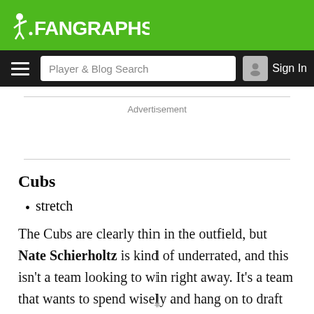FanGraphs
Player & Blog Search | Sign In
Advertisement
Cubs
stretch
The Cubs are clearly thin in the outfield, but Nate Schierholtz is kind of underrated, and this isn't a team looking to win right away. It's a team that wants to spend wisely and hang on to draft